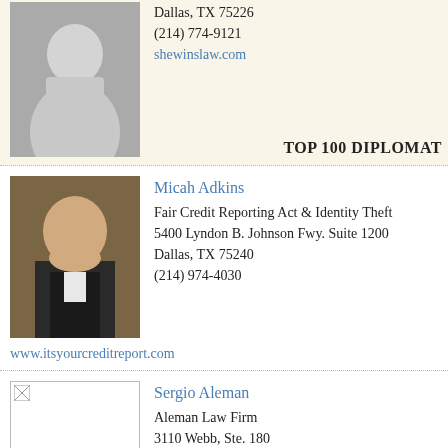[Figure (photo): Black and white photo of a woman in professional attire seated in a chair]
Dallas, TX 75226
(214) 774-9121
shewinslaw.com
TOP 100 DIPLOMAT
[Figure (photo): Color photo of Micah Adkins, a man in a dark suit with a striped tie]
Micah Adkins
Fair Credit Reporting Act & Identity Theft
5400 Lyndon B. Johnson Fwy. Suite 1200
Dallas, TX 75240
(214) 974-4030
www.itsyourcreditreport.com
[Figure (photo): Placeholder image for Sergio Aleman]
Sergio Aleman
Aleman Law Firm
3110 Webb, Ste. 180
Dallas, TX 75205
214.373.7774